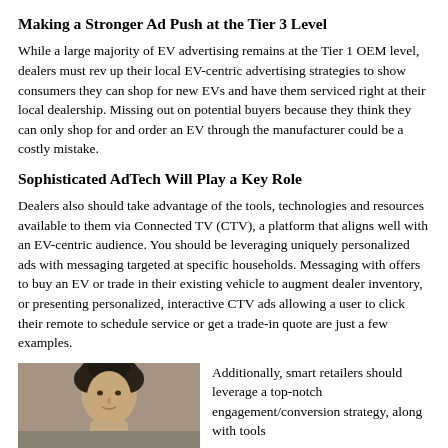Making a Stronger Ad Push at the Tier 3 Level
While a large majority of EV advertising remains at the Tier 1 OEM level, dealers must rev up their local EV-centric advertising strategies to show consumers they can shop for new EVs and have them serviced right at their local dealership. Missing out on potential buyers because they think they can only shop for and order an EV through the manufacturer could be a costly mistake.
Sophisticated AdTech Will Play a Key Role
Dealers also should take advantage of the tools, technologies and resources available to them via Connected TV (CTV), a platform that aligns well with an EV-centric audience. You should be leveraging uniquely personalized ads with messaging targeted at specific households. Messaging with offers to buy an EV or trade in their existing vehicle to augment dealer inventory, or presenting personalized, interactive CTV ads allowing a user to click their remote to schedule service or get a trade-in quote are just a few examples.
[Figure (photo): Headshot of a person with dark hair against a neutral background]
Additionally, smart retailers should leverage a top-notch engagement/conversion strategy, along with tools